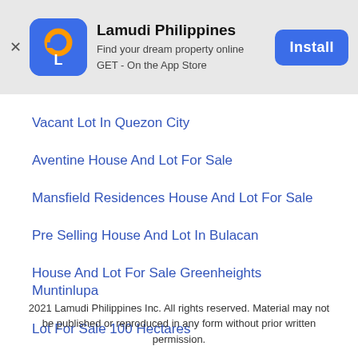[Figure (screenshot): Lamudi Philippines app install banner with app icon, name, tagline, and Install button]
Vacant Lot In Quezon City
Aventine House And Lot For Sale
Mansfield Residences House And Lot For Sale
Pre Selling House And Lot In Bulacan
House And Lot For Sale Greenheights Muntinlupa
Lot For Sale 100 Hectares
2021 Lamudi Philippines Inc. All rights reserved. Material may not be published or reproduced in any form without prior written permission.